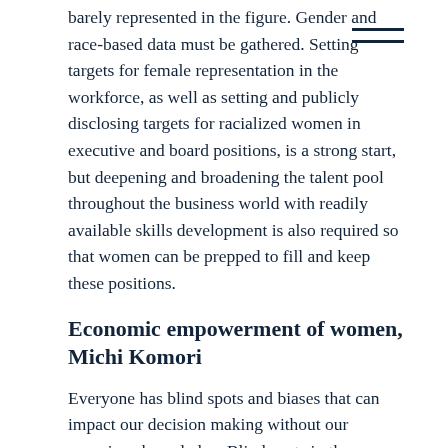barely represented in the figure. Gender and race-based data must be gathered. Setting targets for female representation in the workforce, as well as setting and publicly disclosing targets for racialized women in executive and board positions, is a strong start, but deepening and broadening the talent pool throughout the business world with readily available skills development is also required so that women can be prepped to fill and keep these positions.
Economic empowerment of women, Michi Komori
Everyone has blind spots and biases that can impact our decision making without our conscious knowledge. Blind spots in the eyes of people in power have a huge negative impact on women in the business world. Not only are women less likely to approach banks for loans, but banks are biased against women-owned businesses and have been shown to require much more proof of traction before approving their applications, compared to male-owned